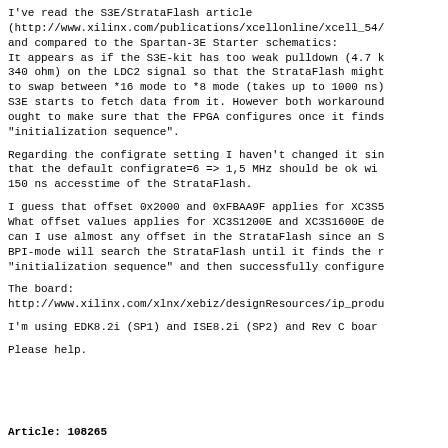I've read the S3E/StrataFlash article
(http://www.xilinx.com/publications/xcellonline/xcell_54/
and compared to the Spartan-3E Starter schematics:
It appears as if the S3E-kit has too weak pulldown (4.7 k
340 ohm) on the LDC2 signal so that the StrataFlash might
to swap between *16 mode to *8 mode (takes up to 1000 ns)
S3E starts to fetch data from it. However both workaround
ought to make sure that the FPGA configures once it finds
"initialization sequence".
Regarding the configrate setting I haven't changed it sin
that the default configrate=6 => 1,5 MHz should be ok wi
150 ns accesstime of the StrataFlash.
I guess that offset 0x2000 and 0xFBAA9F applies for XC3S5
What offset values applies for XC3S1200E and XC3S1600E de
can I use almost any offset in the StrataFlash since an S
BPI-mode will search the StrataFlash until it finds the r
"initialization sequence" and then successfully configure
The board:
http://www.xilinx.com/xlnx/xebiz/designResources/ip_produ
I'm using EDK8.2i (SP1) and ISE8.2i (SP2) and Rev C boar
Please help.
Article: 108265